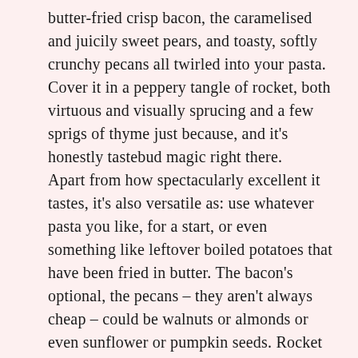butter-fried crisp bacon, the caramelised and juicily sweet pears, and toasty, softly crunchy pecans all twirled into your pasta. Cover it in a peppery tangle of rocket, both virtuous and visually sprucing and a few sprigs of thyme just because, and it's honestly tastebud magic right there.
Apart from how spectacularly excellent it tastes, it's also versatile as: use whatever pasta you like, for a start, or even something like leftover boiled potatoes that have been fried in butter. The bacon's optional, the pecans – they aren't always cheap – could be walnuts or almonds or even sunflower or pumpkin seeds. Rocket could be swapped for spinach or any other green stuff you fancy, the pear could be a green apple...see?
Despite my brain being like a crumbly old Ryvita, it has been a fantastic weekend – lurking with friends old and new, drinking tea and cider and